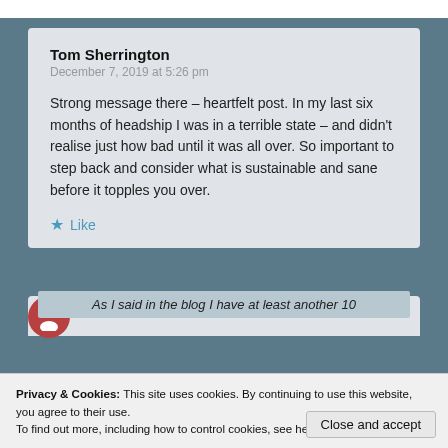Tom Sherrington
December 7, 2019 at 5:26 pm
Strong message there – heartfelt post. In my last six months of headship I was in a terrible state – and didn't realise just how bad until it was all over. So important to step back and consider what is sustainable and sane before it topples you over.
Like
As I said in the blog I have at least another 10
Privacy & Cookies: This site uses cookies. By continuing to use this website, you agree to their use.
To find out more, including how to control cookies, see here: Cookie Policy
Close and accept